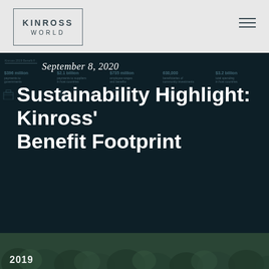[Figure (logo): Kinross World logo in a rectangular border]
[Figure (illustration): Hamburger/menu icon in top right corner]
September 8, 2020
Sustainability Highlight: Kinross' Benefit Footprint
[Figure (infographic): Kinross 2019 Benefit Footprint infographic background showing: $396 million payments to governments, $2.1 billion payments to suppliers, $735 million employee wages and benefits, 630,000 beneficiaries of community investments, $3.2 billion total spending in host countries]
[Figure (photo): Aerial forest/landscape photo strip at bottom with '2019' text overlaid]